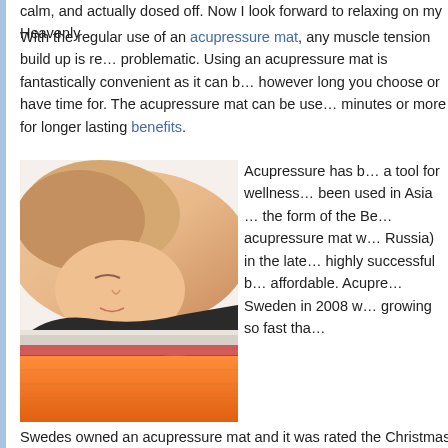calm, and actually dosed off.  Now I look forward to relaxing on my Heavenly
With the regular use of an acupressure mat, any muscle tension build up is re… problematic.  Using an acupressure mat is fantastically convenient as  it can b… however long you choose or have time for.  The acupressure mat can be use… minutes or more for longer lasting benefits.
[Figure (photo): Woman lying face-down on an acupressure mat (orange mat with white/red spikes), eyes closed, resting her head and face on the mat]
Acupressure has b… a tool for wellness… been used in Asia … the form of the Be… acupressure mat w… Russia)  in the late… highly successful b… affordable.  Acupre… Sweden in 2008 w… growing so fast tha… Swedes owned an acupressure mat and it was rated the Christmas gift of the
Acupressure mats are now available in the USA under multiple brand names a… Shakti, mat, Spike mat, Prickly pad, Yantra mat, Himalaya mat.  Acupressure… popularity in the USA in both the natural health and popular markets.
Use Acupressure to kill stress!